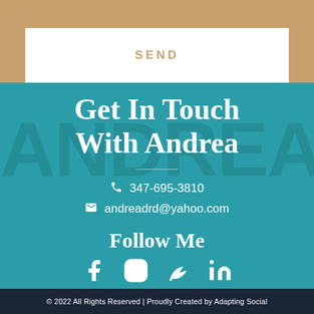SEND
Get In Touch With Andrea
347-695-3810
andreadrd@yahoo.com
Follow Me
[Figure (illustration): Social media icons: Facebook, Instagram, Leaf/eco, LinkedIn]
© 2022 All Rights Reserved | Proudly Created by Adapting Social